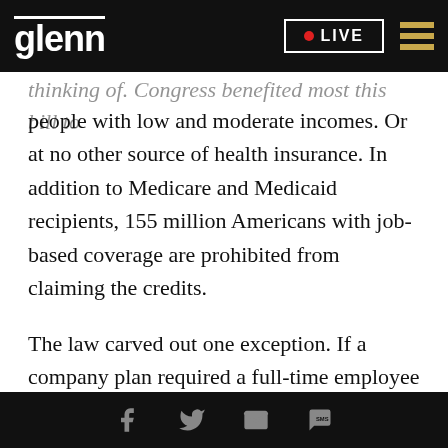glenn • LIVE
people with low and moderate incomes. Or at no other source of health insurance. In addition to Medicare and Medicaid recipients, 155 million Americans with job-based coverage are prohibited from claiming the credits.
The law carved out one exception. If a company plan required a full-time employee to contribute more than 9.5 percent of household income for self only coverage. Then the worker and his or her family members are eligible for the subsidies. So this has
Social share icons: Facebook, Twitter, Email, SMS